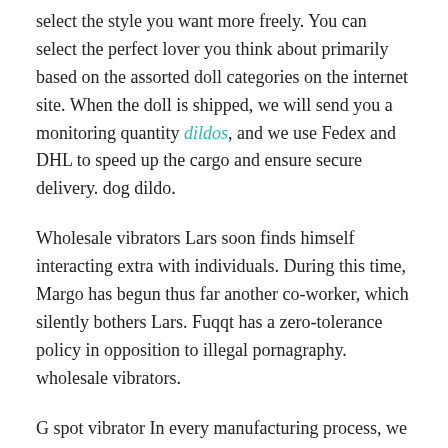select the style you want more freely. You can select the perfect lover you think about primarily based on the assorted doll categories on the internet site. When the doll is shipped, we will send you a monitoring quantity dildos, and we use Fedex and DHL to speed up the cargo and ensure secure delivery. dog dildo.
Wholesale vibrators Lars soon finds himself interacting extra with individuals. During this time, Margo has begun thus far another co-worker, which silently bothers Lars. Fuqqt has a zero-tolerance policy in opposition to illegal pornagraphy. wholesale vibrators.
G spot vibrator In every manufacturing process, we have very strict necessities and quality control to try for perfection. Allows you to customise this state-of-the-art doll for different components of the body-ensuring